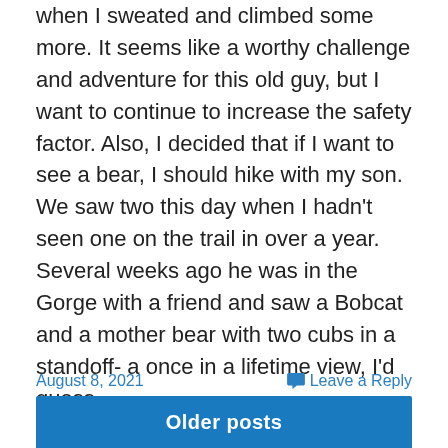when I sweated and climbed some more. It seems like a worthy challenge and adventure for this old guy, but I want to continue to increase the safety factor. Also, I decided that if I want to see a bear, I should hike with my son. We saw two this day when I hadn't seen one on the trail in over a year. Several weeks ago he was in the Gorge with a friend and saw a Bobcat and a mother bear with two cubs in a standoff- a once in a lifetime view, I'd guess.
August 8, 2021
Leave a Reply
Older posts